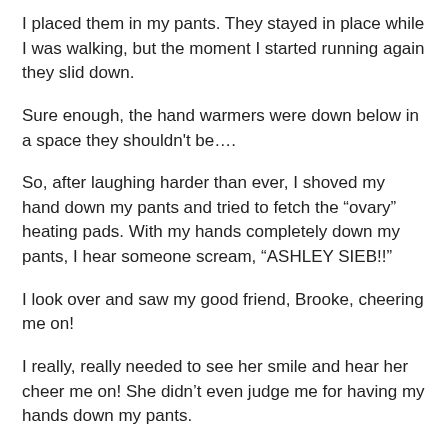I placed them in my pants. They stayed in place while I was walking, but the moment I started running again they slid down.
Sure enough, the hand warmers were down below in a space they shouldn't be….
So, after laughing harder than ever, I shoved my hand down my pants and tried to fetch the “ovary” heating pads. With my hands completely down my pants, I hear someone scream, “ASHLEY SIEB!!”
I look over and saw my good friend, Brooke, cheering me on!
I really, really needed to see her smile and hear her cheer me on! She didn’t even judge me for having my hands down my pants.